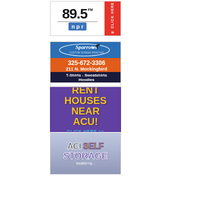[Figure (logo): 89.5 FM NPR radio station advertisement with CLICK HERE >> button in red on the right side]
[Figure (logo): Sparrows Custom Screen Printing advertisement with phone 325-672-3306, address 211 N. Mockingbird, products: T-Shirts - Sweatshirts Hoodies]
[Figure (infographic): Purple advertisement: RENT HOUSES NEAR ACU! CLICK HERE >>]
[Figure (logo): ACI SELF STORAGE advertisement with purple/gray color scheme and subtitle text]